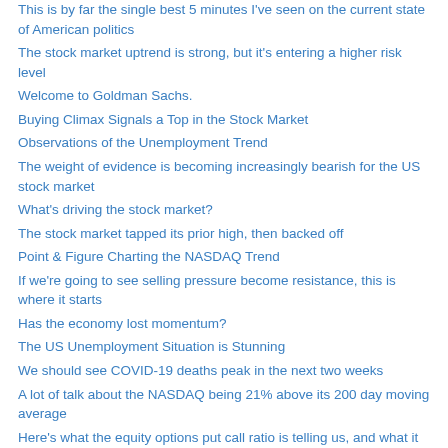This is by far the single best 5 minutes I've seen on the current state of American politics
The stock market uptrend is strong, but it's entering a higher risk level
Welcome to Goldman Sachs.
Buying Climax Signals a Top in the Stock Market
Observations of the Unemployment Trend
The weight of evidence is becoming increasingly bearish for the US stock market
What's driving the stock market?
The stock market tapped its prior high, then backed off
Point & Figure Charting the NASDAQ Trend
If we're going to see selling pressure become resistance, this is where it starts
Has the economy lost momentum?
The US Unemployment Situation is Stunning
We should see COVID-19 deaths peak in the next two weeks
A lot of talk about the NASDAQ being 21% above its 200 day moving average
Here's what the equity options put call ratio is telling us, and what it isn't
COVID-19 Update for Florida; cases, hospitalizations, and rates of